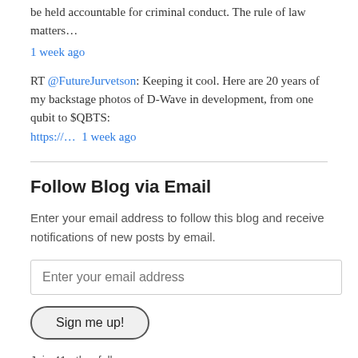be held accountable for criminal conduct. The rule of law matters…
1 week ago
RT @FutureJurvetson: Keeping it cool. Here are 20 years of my backstage photos of D-Wave in development, from one qubit to $QBTS:
https://… 1 week ago
Follow Blog via Email
Enter your email address to follow this blog and receive notifications of new posts by email.
Enter your email address
Sign me up!
Join 41 other followers